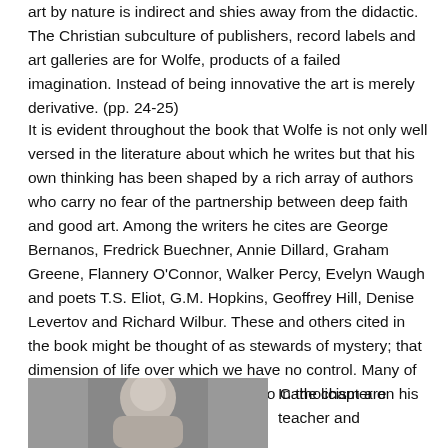art by nature is indirect and shies away from the didactic. The Christian subculture of publishers, record labels and art galleries are for Wolfe, products of a failed imagination. Instead of being innovative the art is merely derivative. (pp. 24-25)
It is evident throughout the book that Wolfe is not only well versed in the literature about which he writes but that his own thinking has been shaped by a rich array of authors who carry no fear of the partnership between deep faith and good art. Among the writers he cites are George Bernanos, Fredrick Buechner, Annie Dillard, Graham Greene, Flannery O’Connor, Walker Percy, Evelyn Waugh and poets T.S. Eliot, G.M. Hopkins, Geoffrey Hill, Denise Levertov and Richard Wilbur. These and others cited in the book might be thought of as stewards of mystery; that dimension of life over which we have no control. Many of the details of Wolfe's own journey to Catholicism are recounted in the book.
[Figure (photo): Black and white photograph of a person]
In the chapter on his teacher and